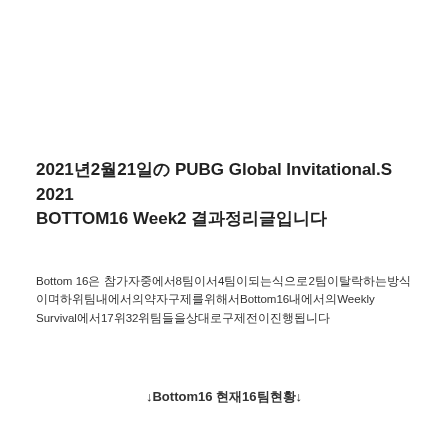2021년2월21일の PUBG Global Invitational.S 2021 BOTTOM16 Week2 결과정리글입니다
Bottom 16은 참가자중에서8팀이서4팀이되는식으로2팀이탈락하는방식이며하위팀내에서의약자구제를위해서Bottom16내에서의Weekly Survival에서17위32위팀들을상대로구제전이진행됩니다
↓Bottom16 현재16팀현황↓